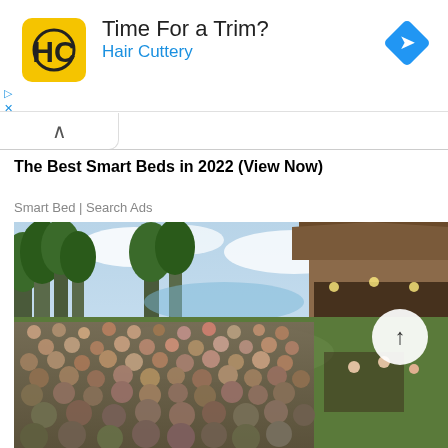[Figure (logo): Hair Cuttery advertisement banner with yellow HC logo, headline 'Time For a Trim?', subline 'Hair Cuttery', and blue navigation diamond icon]
The Best Smart Beds in 2022 (View Now)
Smart Bed | Search Ads
[Figure (photo): Outdoor concert or festival scene with a large crowd of people sitting and standing on a grassy lawn facing a covered wooden stage pavilion, with trees and a lake visible in the background]